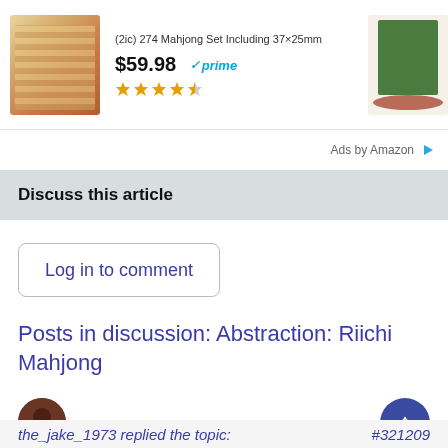[Figure (screenshot): Amazon ad showing a product (mahjong set) with price $59.98 and Prime badge, star rating, and a second product image on the right]
Ads by Amazon
Discuss this article
Log in to comment
Posts in discussion: Abstraction: Riichi Mahjong
the_jake_1973 replied the topic:  #321209